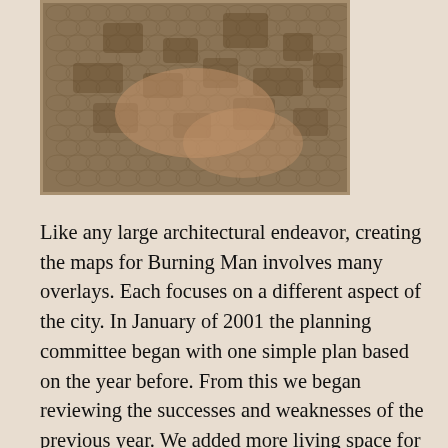[Figure (photo): A close-up photograph of hands holding or touching a textured fabric or material with a reptile-skin or snake-skin pattern, in muted brown and beige tones.]
Like any large architectural endeavor, creating the maps for Burning Man involves many overlays. Each focuses on a different aspect of the city. In January of 2001 the planning committee began with one simple plan based on the year before. From this we began reviewing the successes and weaknesses of the previous year. We added more living space for camps located in the Center Camp. We took out part of a road in the middle of the city to create living space for larger groups. We also added a grid system to assist the layout of theme camps and ease the process of going from planning to real playa placement. Every other placement concern fell into a timeline based on need and inspiration after this initial meeting.